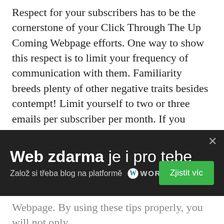Respect for your subscribers has to be the cornerstone of your Click Through The Up Coming Webpage efforts. One way to show this respect is to limit your frequency of communication with them. Familiarity breeds plenty of other negative traits besides contempt! Limit yourself to two or three emails per subscriber per month. If you communicate more often, you risk losing readers' interest and becoming background noise.
A great tip for following up with prospects is to follow up with some past conversation that has taken place through an email. Include a link on your email that lets them apply right now. The closing postscript can allow them to order with just one click by clicking on the below link.
In conclusion, Click Through The Up Coming Webpage
[Figure (screenshot): WordPress promotional banner overlay with dark background. Text: 'Web zdarma je i pro tebe', 'Založ si třeba blog na platformě WordPress', green 'Zjistit víc' button, and close X button.]
Webpage. By using these tips properly, you will not only